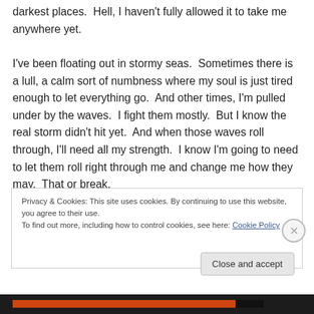darkest places.  Hell, I haven't fully allowed it to take me anywhere yet.

I've been floating out in stormy seas.  Sometimes there is a lull, a calm sort of numbness where my soul is just tired enough to let everything go.  And other times, I'm pulled under by the waves.  I fight them mostly.  But I know the real storm didn't hit yet.  And when those waves roll through, I'll need all my strength.  I know I'm going to need to let them roll right through me and change me how they may.  That or break.
Privacy & Cookies: This site uses cookies. By continuing to use this website, you agree to their use.
To find out more, including how to control cookies, see here: Cookie Policy
Close and accept